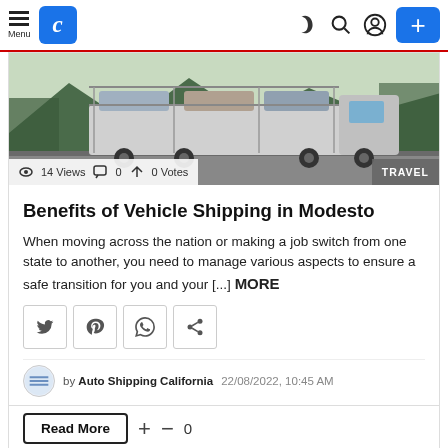Menu | C logo | dark mode | search | user | +
[Figure (photo): A large car carrier truck on a road with mountains and trees in the background]
14 Views  0  0 Votes  TRAVEL
Benefits of Vehicle Shipping in Modesto
When moving across the nation or making a job switch from one state to another, you need to manage various aspects to ensure a safe transition for you and your [...] MORE
[Figure (other): Social share buttons: Twitter, Pinterest, WhatsApp, Share]
by Auto Shipping California  22/08/2022, 10:45 AM
Read More  +  −  0